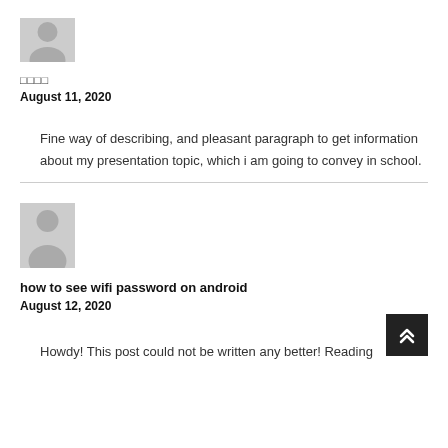[Figure (illustration): Gray avatar placeholder icon showing a person silhouette, top half visible]
□□□□
August 11, 2020
Fine way of describing, and pleasant paragraph to get information about my presentation topic, which i am going to convey in school.
[Figure (illustration): Gray avatar placeholder icon showing a full person silhouette]
how to see wifi password on android
August 12, 2020
Howdy! This post could not be written any better! Reading